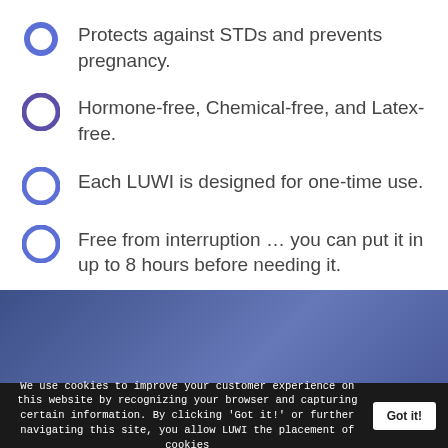Protects against STDs and prevents pregnancy.
Hormone-free, Chemical-free, and Latex-free.
Each LUWI is designed for one-time use.
Free from interruption … you can put it in up to 8 hours before needing it.
[Figure (photo): Blue textured background section]
We use cookies to improve your customer experience on this website by recognizing your browser and capturing certain information. By clicking 'Got it!' or further navigating this site, you allow LUWI the placement of cookies